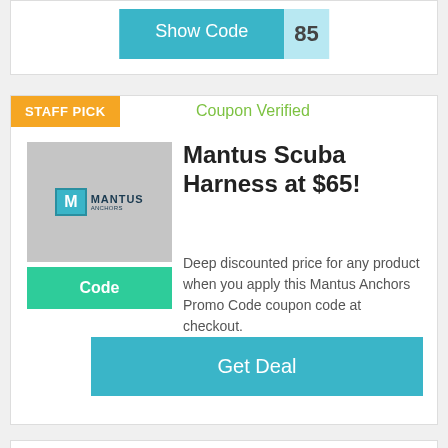[Figure (screenshot): Show Code button with teal background and partial number '85' visible on right]
STAFF PICK
Coupon Verified
[Figure (logo): Mantus logo on gray background with teal M icon and MANTUS text]
Code
Mantus Scuba Harness at $65!
Deep discounted price for any product when you apply this Mantus Anchors Promo Code coupon code at checkout.
Get Deal